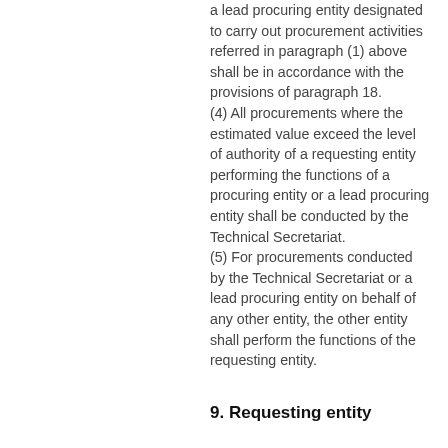a lead procuring entity designated to carry out procurement activities referred in paragraph (1) above shall be in accordance with the provisions of paragraph 18. (4) All procurements where the estimated value exceed the level of authority of a requesting entity performing the functions of a procuring entity or a lead procuring entity shall be conducted by the Technical Secretariat. (5) For procurements conducted by the Technical Secretariat or a lead procuring entity on behalf of any other entity, the other entity shall perform the functions of the requesting entity.
9. Requesting entity